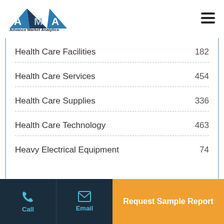Advance Market Analytics
| Category | Count |
| --- | --- |
| Health Care Facilities | 182 |
| Health Care Services | 454 |
| Health Care Supplies | 336 |
| Health Care Technology | 463 |
| Heavy Electrical Equipment | 74 |
Call | Email | Request Sample Report